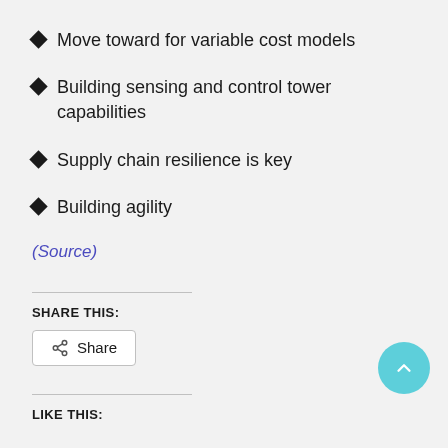Move toward for variable cost models
Building sensing and control tower capabilities
Supply chain resilience is key
Building agility
(Source)
SHARE THIS:
Share
LIKE THIS: